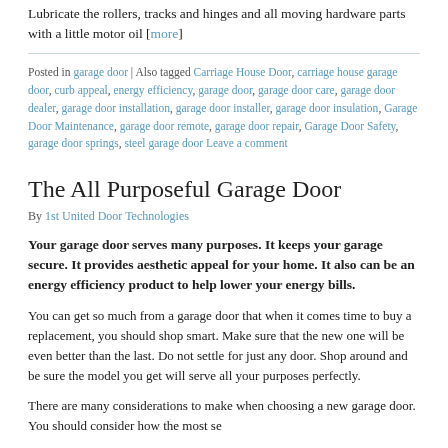Lubricate the rollers, tracks and hinges and all moving hardware parts with a little motor oil [more]
Posted in garage door | Also tagged Carriage House Door, carriage house garage door, curb appeal, energy efficiency, garage door, garage door care, garage door dealer, garage door installation, garage door installer, garage door insulation, Garage Door Maintenance, garage door remote, garage door repair, Garage Door Safety, garage door springs, steel garage door Leave a comment
The All Purposeful Garage Door
By 1st United Door Technologies
Your garage door serves many purposes. It keeps your garage secure. It provides aesthetic appeal for your home. It also can be an energy efficiency product to help lower your energy bills.
You can get so much from a garage door that when it comes time to buy a replacement, you should shop smart. Make sure that the new one will be even better than the last. Do not settle for just any door. Shop around and be sure the model you get will serve all your purposes perfectly.
There are many considerations to make when choosing a new garage door. You should consider...